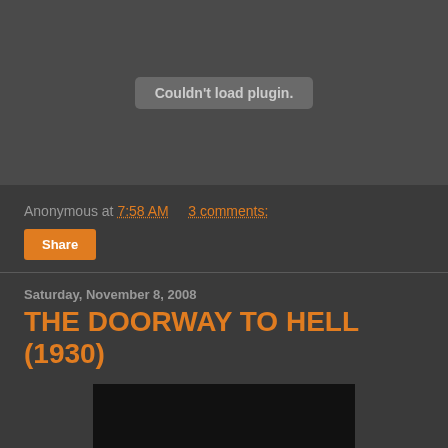[Figure (screenshot): Plugin failed to load area showing 'Couldn't load plugin.' message in a gray rounded box on dark background]
Anonymous at 7:58 AM    3 comments:
Share
Saturday, November 8, 2008
THE DOORWAY TO HELL (1930)
[Figure (screenshot): Dark/black video thumbnail or movie frame]